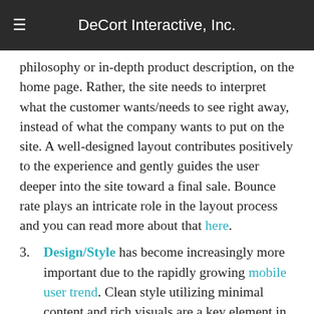DeCort Interactive, Inc.
philosophy or in-depth product description, on the home page. Rather, the site needs to interpret what the customer wants/needs to see right away, instead of what the company wants to put on the site. A well-designed layout contributes positively to the experience and gently guides the user deeper into the site toward a final sale. Bounce rate plays an intricate role in the layout process and you can read more about that here.
3. Design/Style has become increasingly more important due to the rapidly growing mobile user trend. Clean style utilizing minimal content and rich visuals are a key element in great design. In addition to this, contrast and